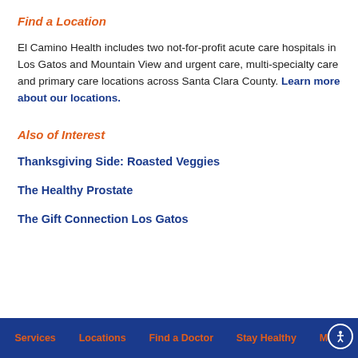Find a Location
El Camino Health includes two not-for-profit acute care hospitals in Los Gatos and Mountain View and urgent care, multi-specialty care and primary care locations across Santa Clara County. Learn more about our locations.
Also of Interest
Thanksgiving Side: Roasted Veggies
The Healthy Prostate
The Gift Connection Los Gatos
Services  Locations  Find a Doctor  Stay Healthy  More